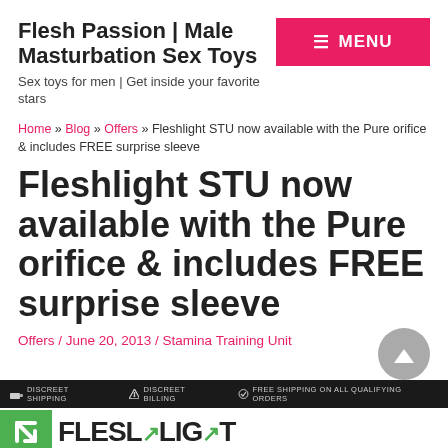Flesh Passion | Male Masturbation Sex Toys
Sex toys for men | Get inside your favorite stars
Home » Blog » Offers » Fleshlight STU now available with the Pure orifice & includes FREE surprise sleeve
Fleshlight STU now available with the Pure orifice & includes FREE surprise sleeve
Offers / June 20, 2013 / Stamina Training Unit
[Figure (screenshot): Fleshlight banner ad showing green arrow logo, discreet shipping, discreet billing, free shipping on all qualifying orders]